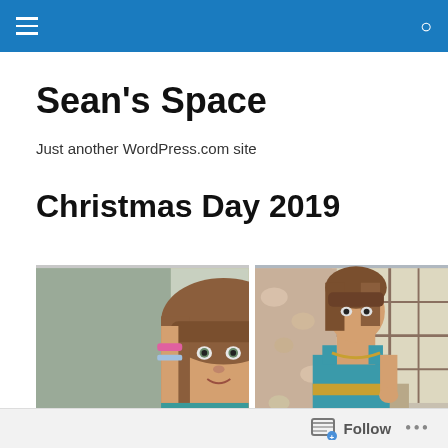Sean's Space — navigation bar
Sean's Space
Just another WordPress.com site
Christmas Day 2019
[Figure (photo): Close-up photo of a young girl with long brown hair wearing a teal/turquoise outfit and bracelets, posing with her hand near her face.]
[Figure (photo): Photo of a young girl wearing a teal/turquoise costume, standing near a window with floral curtains, looking over her shoulder.]
Follow